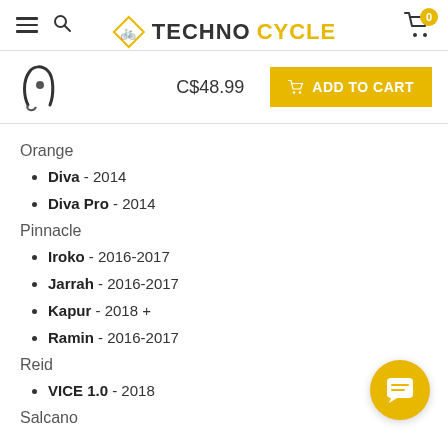TECHNOCYCLE
C$48.99  ADD TO CART
Orange
Diva - 2014
Diva Pro - 2014
Pinnacle
Iroko - 2016-2017
Jarrah - 2016-2017
Kapur - 2018 +
Ramin - 2016-2017
Reid
VICE 1.0 - 2018
Salcano